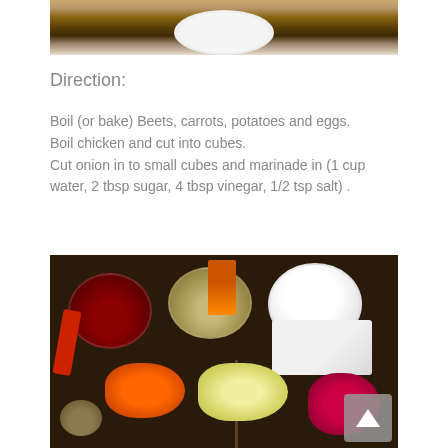[Figure (photo): Top portion of a photo showing a table setting with a white plate and golden fork/utensils on a dark background, partially cropped at top]
Direction:
Boil (or bake) Beets, carrots, potatoes and eggs. Boil chicken and cut into cubes. Cut onion in to small cubes and marinade in (1 cup water, 2 tbsp sugar, 4 tbsp vinegar, 1/2 tsp salt) .
[Figure (photo): Photo of recipe ingredients laid out on a dark wooden surface: bowls containing pomegranate seeds, mixed nuts/breadcrumbs, flour/white powder; grated carrots, shredded cabbage, beet, and a block of butter/cream cheese; an orange box in background]